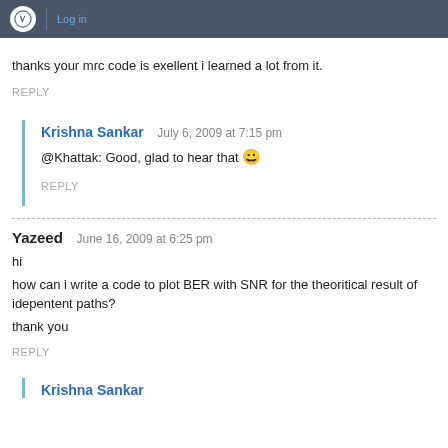Log in
thanks your mrc code is exellent i learned a lot from it.
REPLY
Krishna Sankar   July 6, 2009 at 7:15 pm
@Khattak: Good, glad to hear that 😀
REPLY
Yazeed   June 16, 2009 at 6:25 pm
hi
how can i write a code to plot BER with SNR for the theoritical result of idepentent paths?
thank you
REPLY
Krishna Sankar